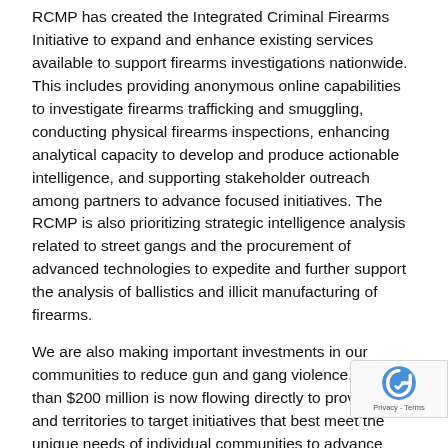RCMP has created the Integrated Criminal Firearms Initiative to expand and enhance existing services available to support firearms investigations nationwide. This includes providing anonymous online capabilities to investigate firearms trafficking and smuggling, conducting physical firearms inspections, enhancing analytical capacity to develop and produce actionable intelligence, and supporting stakeholder outreach among partners to advance focused initiatives. The RCMP is also prioritizing strategic intelligence analysis related to street gangs and the procurement of advanced technologies to expedite and further support the analysis of ballistics and illicit manufacturing of firearms.
We are also making important investments in our communities to reduce gun and gang violence.  More than $200 million is now flowing directly to provinces and territories to target initiatives that best meet the unique needs of individual communities to advance efforts in areas of prevention, gang exit, outreach and awareness training as well as enhanced intelligence sharing and law enforcement capacity. With the funding allocations, jurisdictions have made investments to support new law enforcement a... including specialized training and education initiatives and improving data collection and information sharing. Provino... territories have also prioritized a number of prevention intervention